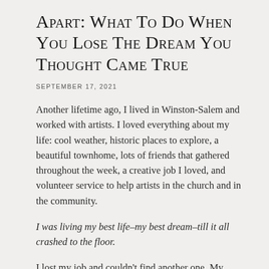Apart: What To Do When You Lose The Dream You Thought Came True
SEPTEMBER 17, 2021
Another lifetime ago, I lived in Winston-Salem and worked with artists. I loved everything about my life: cool weather, historic places to explore, a beautiful townhome, lots of friends that gathered throughout the week, a creative job I loved, and volunteer service to help artists in the church and in the community.
I was living my best life–my best dream–till it all crashed to the floor.
I lost my job and couldn't find another one. My